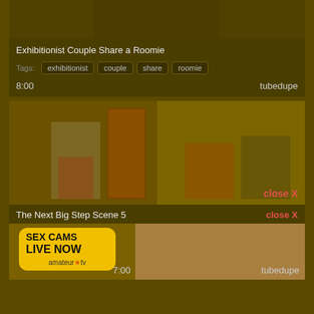[Figure (screenshot): Top portion of video thumbnail showing couple]
Exhibitionist Couple Share a Roomie
Tags: exhibitionist couple share roomie
8:00   tubedupe
[Figure (screenshot): Two side-by-side video thumbnails: left shows woman in white blouse and red skirt, right shows man and blonde woman seated. Close X label visible.]
The Next Big Step Scene 5
close X
[Figure (screenshot): Advertisement banner: SEX CAMS LIVE NOW amateur.tv with partial image. Duration 7:00 and tubedupe label visible.]